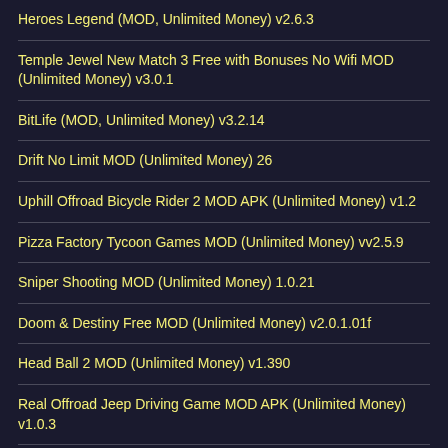Heroes Legend (MOD, Unlimited Money) v2.6.3
Temple Jewel New Match 3 Free with Bonuses No Wifi MOD (Unlimited Money) v3.0.1
BitLife (MOD, Unlimited Money) v3.2.14
Drift No Limit MOD (Unlimited Money) 26
Uphill Offroad Bicycle Rider 2 MOD APK (Unlimited Money) v1.2
Pizza Factory Tycoon Games MOD (Unlimited Money) vv2.5.9
Sniper Shooting MOD (Unlimited Money) 1.0.21
Doom & Destiny Free MOD (Unlimited Money) v2.0.1.01f
Head Ball 2 MOD (Unlimited Money) v1.390
Real Offroad Jeep Driving Game MOD APK (Unlimited Money) v1.0.3